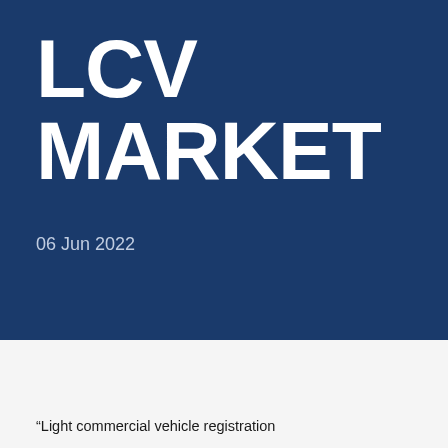LCV MARKET
06 Jun 2022
“Light commercial vehicle registration